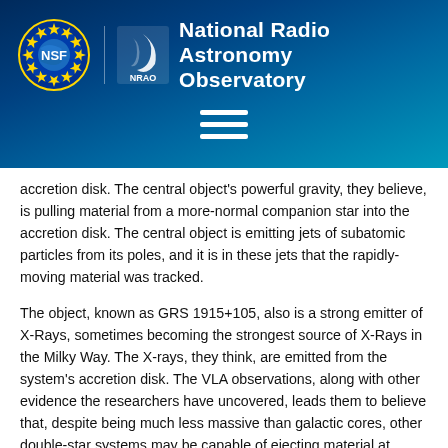[Figure (logo): NSF and NRAO header banner with logos and navigation hamburger menu on a dark blue gradient background]
accretion disk. The central object's powerful gravity, they believe, is pulling material from a more-normal companion star into the accretion disk. The central object is emitting jets of subatomic particles from its poles, and it is in these jets that the rapidly-moving material was tracked.
The object, known as GRS 1915+105, also is a strong emitter of X-Rays, sometimes becoming the strongest source of X-Rays in the Milky Way. The X-rays, they think, are emitted from the system's accretion disk. The VLA observations, along with other evidence the researchers have uncovered, leads them to believe that, despite being much less massive than galactic cores, other double-star systems may be capable of ejecting material at speeds near that of light. The researchers reported their discovery in the September 1 issue of the journal Nature.
“This discovery is one of the most valuable results of more than